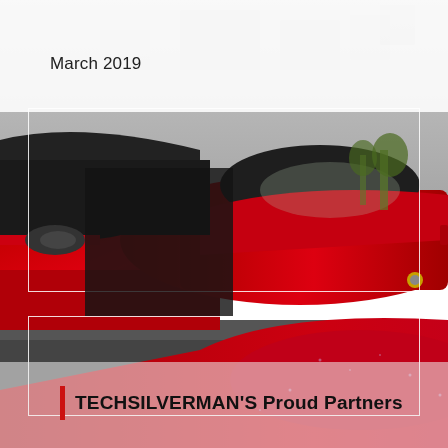March 2019
[Figure (photo): Multiple red Ferrari sports cars parked close together near a concrete wall, with rain-wet surfaces visible. The image fills most of the page vertically.]
TECHSILVERMAN'S Proud Partners